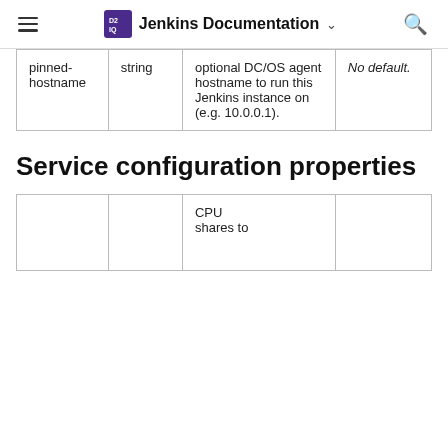Jenkins Documentation
| pinned-hostname | string | optional DC/OS agent hostname to run this Jenkins instance on (e.g. 10.0.0.1). | No default. |
Service configuration properties
|  |  | CPU shares to |  |